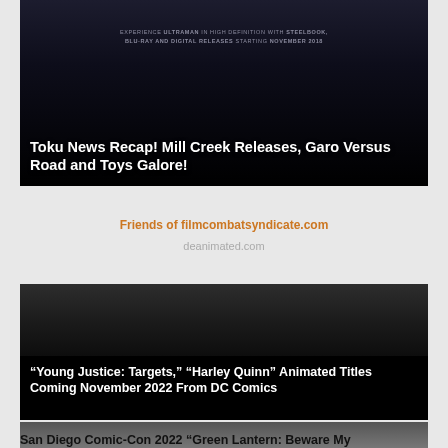[Figure (screenshot): Dark banner image with small text 'EXPERIENCE ULTRAMAN IN HIGH DEFINITION WITH STEELBOOK, BLU-RAY AND DIGITAL RELEASES STARTING NOVEMBER 2018' overlaid on a dark background]
Toku News Recap! Mill Creek Releases, Garo Versus Road and Toys Galore!
Friends of filmcombatsyndicate.com
deanimated.com
[Figure (screenshot): Dark image with silhouetted figures in upper portion, fading to black]
“Young Justice: Targets,” “Harley Quinn” Animated Titles Coming November 2022 From DC Comics
[Figure (screenshot): Partial image of a panel or crowd scene, grayscale/dark tones]
San Diego Comic-Con 2022 “Green Lantern: Beware My